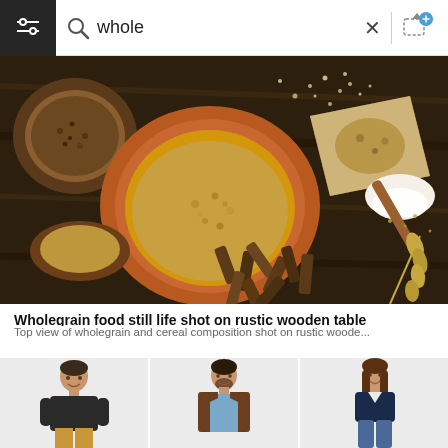[Figure (screenshot): Search bar UI with filter icon on left, magnifying glass icon, search text 'whole', X close button, vertical divider, and image upload icon on right]
[Figure (photo): Top view of wholegrain and cereal composition including bowls of grains, whole wheat pasta, bread slices, flour, and wheat ears on a rustic dark wooden table]
Wholegrain food still life shot on rustic wooden table
Top view of wholegrain and cereal composition shot on rustic woode...
[Figure (photo): Three stock photo thumbnails showing people: a man in black t-shirt and khaki pants, a man in brown blazer and blue shirt, and a woman in navy top and jeans, all on light backgrounds]